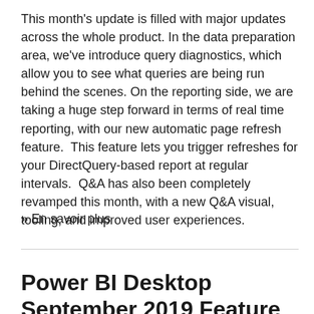This month's update is filled with major updates across the whole product. In the data preparation area, we've introduce query diagnostics, which allow you to see what queries are being run behind the scenes. On the reporting side, we are taking a huge step forward in terms of real time reporting, with our new automatic page refresh feature.  This feature lets you trigger refreshes for your DirectQuery-based report at regular intervals.  Q&A has also been completely revamped this month, with a new Q&A visual, tooling, and improved user experiences.
» En savoir plus
Power BI Desktop September 2019 Feature Summary